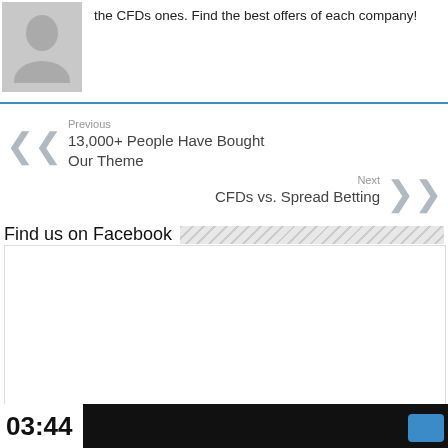the CFDs ones. Find the best offers of each company!
Previous
13,000+ People Have Bought Our Theme
Next
CFDs vs. Spread Betting
Find us on Facebook
03:44